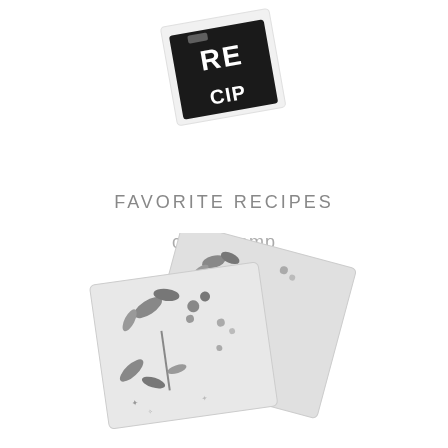[Figure (photo): A black and white clear stamp with 'RECIPES' text, photographed at an angle on white background, partially cropped at top of image]
FAVORITE RECIPES
clear stamp
[Figure (photo): Two overlapping light gray/white clear stamp sheets with floral and botanical designs including leaves, berries, and small flowers, photographed at an angle on white background, partially cropped at bottom of image]